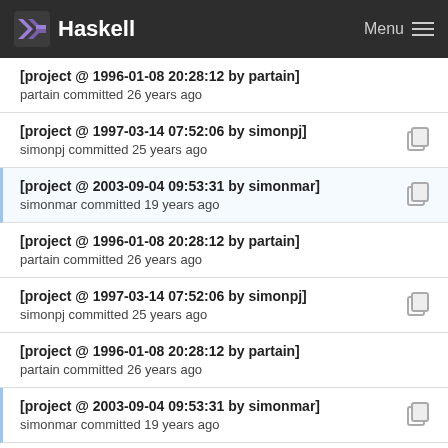Haskell  Menu
[project @ 1996-01-08 20:28:12 by partain]
partain committed 26 years ago
[project @ 1997-03-14 07:52:06 by simonpj]
simonpj committed 25 years ago
[project @ 2003-09-04 09:53:31 by simonmar]
simonmar committed 19 years ago
[project @ 1996-01-08 20:28:12 by partain]
partain committed 26 years ago
[project @ 1997-03-14 07:52:06 by simonpj]
simonpj committed 25 years ago
[project @ 1996-01-08 20:28:12 by partain]
partain committed 26 years ago
[project @ 2003-09-04 09:53:31 by simonmar]
simonmar committed 19 years ago
[project @ 1997-03-14 07:52:06 by ...